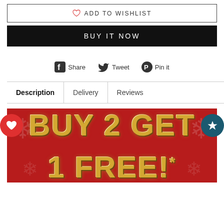♡ ADD TO WISHLIST
BUY IT NOW
[Figure (infographic): Social share bar with Facebook Share, Twitter Tweet, and Pinterest Pin it icons]
Description | Delivery | Reviews
[Figure (infographic): Red promotional banner with gold text reading 'BUY 2 GET' on top and '1 FREE!*' partially visible at bottom, with snowflake decorations]